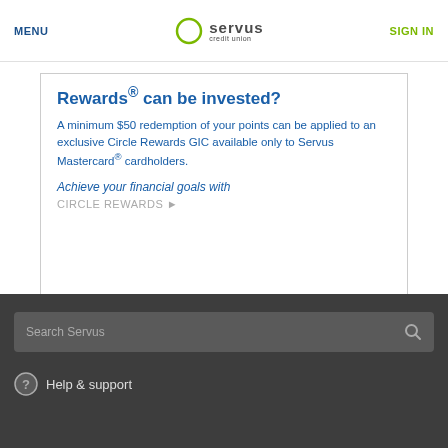MENU | Servus credit union | SIGN IN
Rewards® can be invested?
A minimum $50 redemption of your points can be applied to an exclusive Circle Rewards GIC available only to Servus Mastercard® cardholders.
Achieve your financial goals with
CIRCLE REWARDS ►
Search Servus | Help & support